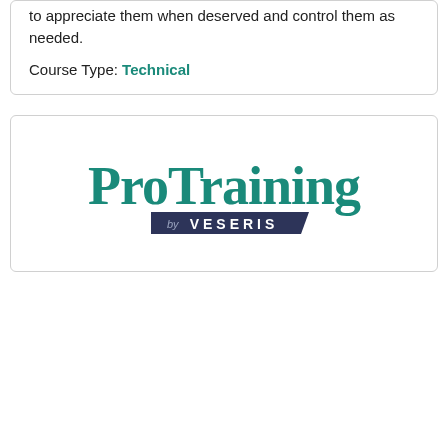to appreciate them when deserved and control them as needed.
Course Type: Technical
[Figure (logo): ProTraining by Veseris logo. 'ProTraining' in large teal serif bold text, with 'by VESERIS' in a dark navy banner below.]